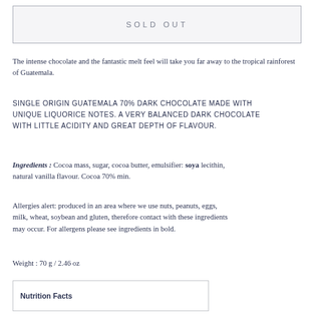SOLD OUT
The intense chocolate and the fantastic melt feel will take you far away to the tropical rainforest of Guatemala.
SINGLE ORIGIN GUATEMALA 70% DARK CHOCOLATE MADE WITH UNIQUE LIQUORICE NOTES. A VERY BALANCED DARK CHOCOLATE WITH LITTLE ACIDITY AND GREAT DEPTH OF FLAVOUR.
Ingredients : Cocoa mass, sugar, cocoa butter, emulsifier: soya lecithin, natural vanilla flavour. Cocoa 70% min.
Allergies alert: produced in an area where we use nuts, peanuts, eggs, milk, wheat, soybean and gluten, therefore contact with these ingredients may occur. For allergens please see ingredients in bold.
Weight : 70 g / 2.46 oz
Nutrition Facts